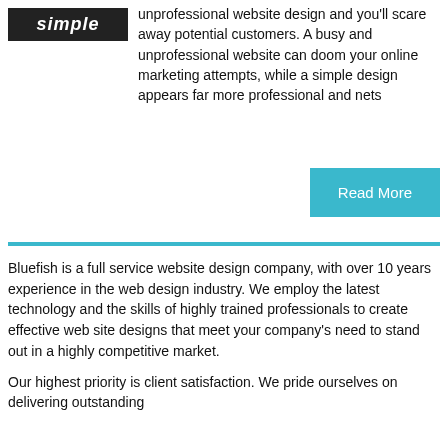[Figure (logo): Black rectangle with white italic bold text reading 'simple' — company logo]
unprofessional website design and you'll scare away potential customers. A busy and unprofessional website can doom your online marketing attempts, while a simple design appears far more professional and nets
Read More
Bluefish is a full service website design company, with over 10 years experience in the web design industry. We employ the latest technology and the skills of highly trained professionals to create effective web site designs that meet your company's need to stand out in a highly competitive market.
Our highest priority is client satisfaction. We pride ourselves on delivering outstanding